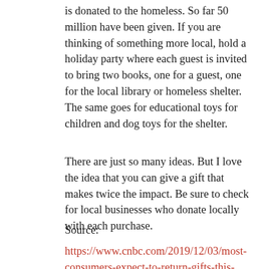is donated to the homeless. So far 50 million have been given. If you are thinking of something more local, hold a holiday party where each guest is invited to bring two books, one for a guest, one for the local library or homeless shelter. The same goes for educational toys for children and dog toys for the shelter.
There are just so many ideas. But I love the idea that you can give a gift that makes twice the impact. Be sure to check for local businesses who donate locally with each purchase.
Source:
https://www.cnbc.com/2019/12/03/most-consumers-expect-to-return-gifts-this-holiday-season.html#:~:text=The%20thought%20process